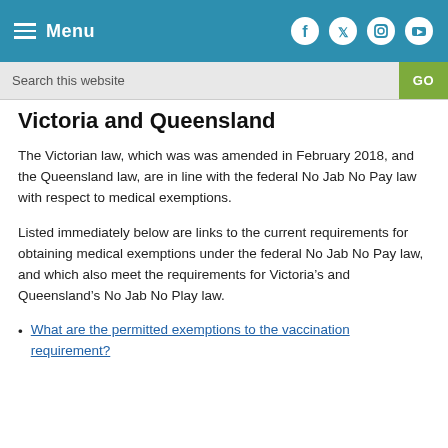Menu | Social icons: Facebook, Twitter, Instagram, YouTube
Search this website
Victoria and Queensland
The Victorian law, which was was amended in February 2018, and the Queensland law, are in line with the federal No Jab No Pay law with respect to medical exemptions.
Listed immediately below are links to the current requirements for obtaining medical exemptions under the federal No Jab No Pay law, and which also meet the requirements for Victoria’s and Queensland’s No Jab No Play law.
What are the permitted exemptions to the vaccination requirement?